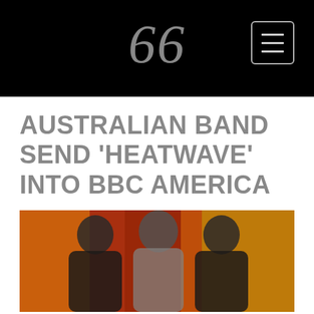66
AUSTRALIAN BAND SEND 'HEATWAVE' INTO BBC AMERICA
[Figure (photo): Three people standing together against a warm orange and red background, rendered in black and white or desaturated tones]